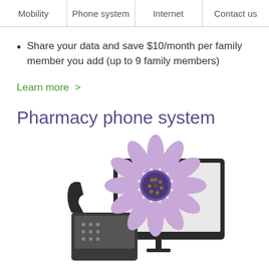Mobility | Phone system | Internet | Contact us
Share your data and save $10/month per family member you add (up to 9 family members)
Learn more >
Pharmacy phone system
[Figure (photo): A purple/lavender daisy flower displayed on a computer monitor, with a desk phone in front, against a white background.]